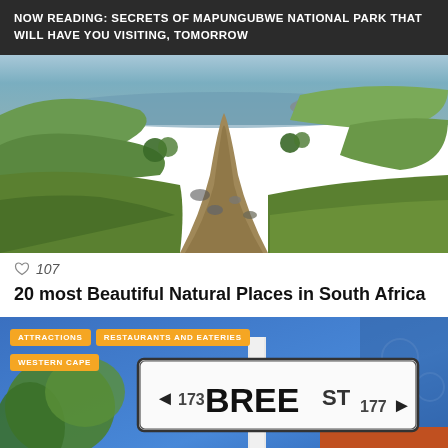NOW READING: SECRETS OF MAPUNGUBWE NATIONAL PARK THAT WILL HAVE YOU VISITING, TOMORROW
[Figure (photo): A gravel dirt path leading through green hills toward a coastline with rocky outcrops and ocean in the background under a cloudy sky.]
♡ 107
20 most Beautiful Natural Places in South Africa
[Figure (photo): A street scene showing a Bree Street sign reading '173 BREE ST 177' with orange category tags for ATTRACTIONS, RESTAURANTS AND EATERIES, and WESTERN CAPE overlaid on the image.]